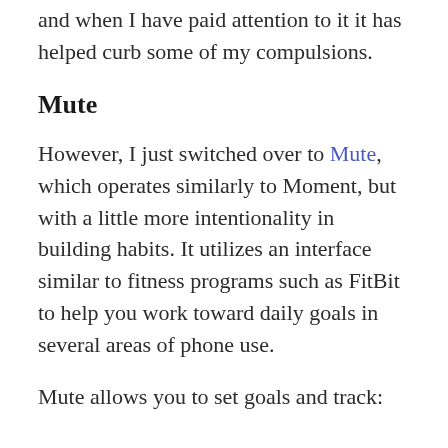and when I have paid attention to it it has helped curb some of my compulsions.
Mute
However, I just switched over to Mute, which operates similarly to Moment, but with a little more intentionality in building habits. It utilizes an interface similar to fitness programs such as FitBit to help you work toward daily goals in several areas of phone use.
Mute allows you to set goals and track: